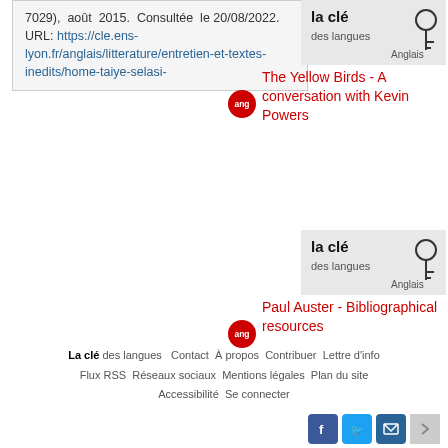7029), août 2015. Consultée le 20/08/2022. URL: https://cle.ens-lyon.fr/anglais/litterature/entretien-et-textes-inedits/home-taiye-selasi-
[Figure (logo): La clé des langues logo with Anglais tag]
The Yellow Birds - A conversation with Kevin Powers
[Figure (logo): La clé des langues logo with Anglais tag]
Paul Auster - Bibliographical resources
La clé des langues   Contact   À propos   Contribuer   Lettre d'info   Flux RSS   Réseaux sociaux   Mentions légales   Plan du site   Accessibilité   Se connecter